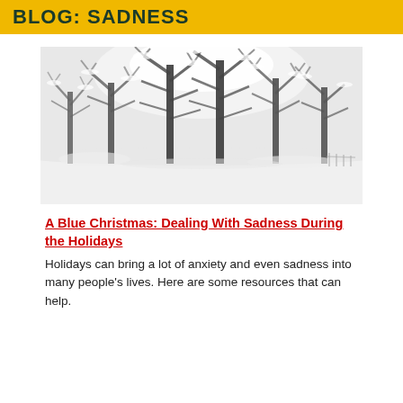BLOG: SADNESS
[Figure (photo): Winter scene with snow-covered trees in a park, black and white tones, bright overcast sky.]
A Blue Christmas: Dealing With Sadness During the Holidays
Holidays can bring a lot of anxiety and even sadness into many people's lives. Here are some resources that can help.